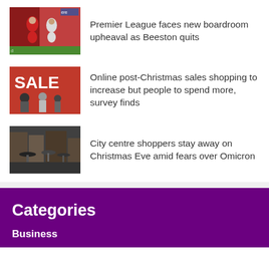[Figure (photo): Soccer players in a match, one wearing red Liverpool kit, another in white/grey]
Premier League faces new boardroom upheaval as Beeston quits
[Figure (photo): People walking past a red SALE sign in a shop window, post-Christmas sales]
Online post-Christmas sales shopping to increase but people to spend more, survey finds
[Figure (photo): City centre street scene with people walking in rainy weather on Christmas Eve]
City centre shoppers stay away on Christmas Eve amid fears over Omicron
Categories
Business